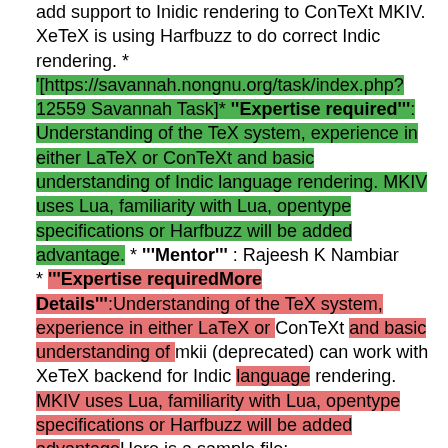add support to Inidic rendering to ConTeXt MKIV. XeTeX is using Harfbuzz to do correct Indic rendering. * '[https://savannah.nongnu.org/task/index.php?12559 Savannah Task]* '''Expertise required''': Understanding of the TeX system, experience in either LaTeX or ConTeXt and basic understanding of Indic language rendering. MKIV uses Lua, familiarity with Lua, opentype specifications or Harfbuzz will be added advantage. * '''Mentor''' : Rajeesh K Nambiar * '''Expertise requiredMore Details''':Understanding of the TeX system, experience in either LaTeX or ConTeXt and basic understanding of mkii (deprecated) can work with XeTeX backend for Indic language rendering. MKIV uses Lua, familiarity with Lua, opentype specifications or Harfbuzz will be added advantageHere is a sample file: \usemodule[simplefonts] \definefontfeature[malayalam][script=mlym] \setmainfont[Rachana][features=malayalam] \starttext മലയാള \TeX തയ്പ്പിക്കൽ ഉദാഹരണങ്ങൾ ഇവിടെ \stoptextGenerate the output using command texexec -- xetex <file.tex>